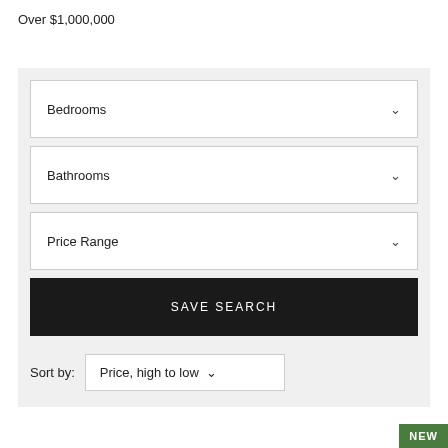Over $1,000,000
Bedrooms
Bathrooms
Price Range
SAVE SEARCH
Sort by: Price, high to low
NEW